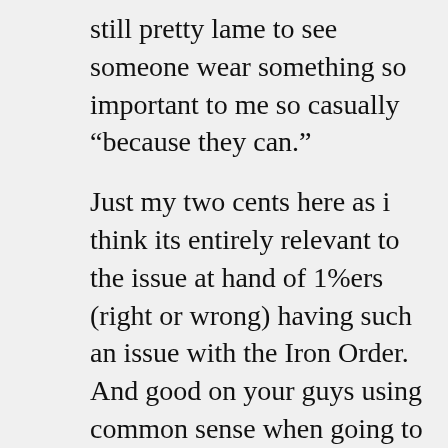still pretty lame to see someone wear something so important to me so casually “because they can.”
Just my two cents here as i think its entirely relevant to the issue at hand of 1%ers (right or wrong) having such an issue with the Iron Order. And good on your guys using common sense when going to dive bars and festivals where there may be other groups. That sets a respectful and positive standard